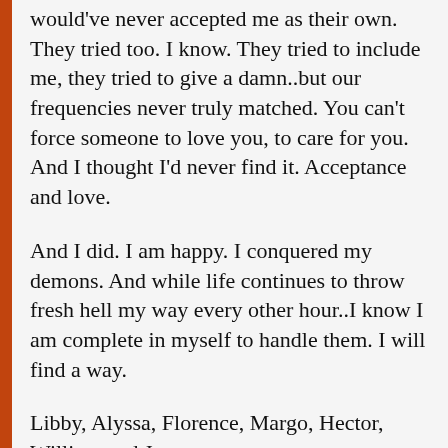would've never accepted me as their own. They tried too. I know. They tried to include me, they tried to give a damn..but our frequencies never truly matched. You can't force someone to love you, to care for you. And I thought I'd never find it. Acceptance and love.
And I did. I am happy. I conquered my demons. And while life continues to throw fresh hell my way every other hour..I know I am complete in myself to handle them. I will find a way.
Libby, Alyssa, Florence, Margo, Hector, William and James.
I wish I could make ya'll know..how much your company meant/means to me.